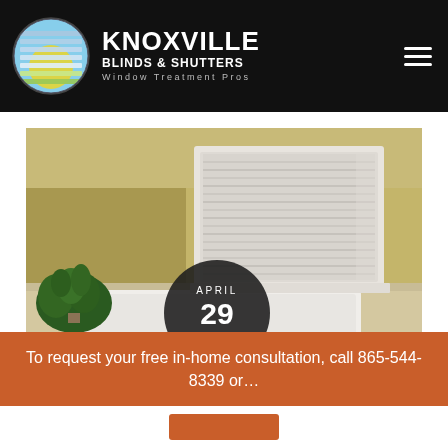KNOXVILLE BLINDS & SHUTTERS Window Treatment Pros
[Figure (photo): Bathroom interior with a white bathtub corner, a plant to the left, and a window with white horizontal blinds/shutters mounted in a white frame. Warm golden-beige wall color. Date badge overlay reads APRIL 29 2022.]
To request your free in-home consultation, call 865-544-8339 or…